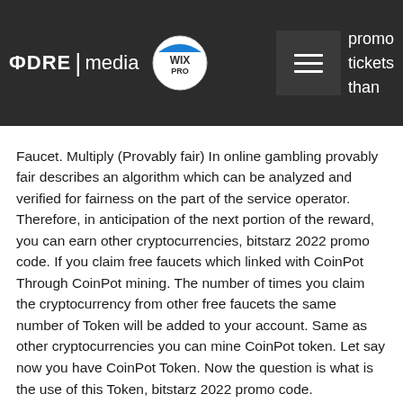DRE|media WIX PRO [hamburger menu] promo tickets than
Faucet. Multiply (Provably fair) In online gambling provably fair describes an algorithm which can be analyzed and verified for fairness on the part of the service operator.
Therefore, in anticipation of the next portion of the reward, you can earn other cryptocurrencies, bitstarz 2022 promo code. If you claim free faucets which linked with CoinPot Through CoinPot mining. The number of times you claim the cryptocurrency from other free faucets the same number of Token will be added to your account. Same as other cryptocurrencies you can mine CoinPot token. Let say now you have CoinPot Token. Now the question is what is the use of this Token, bitstarz 2022 promo code.